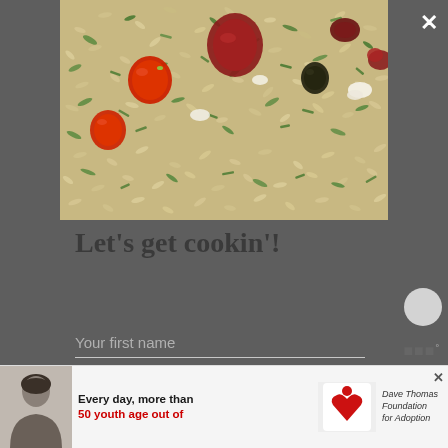[Figure (photo): Close-up photo of orzo pasta salad with cherry tomatoes, cranberries, olives, herbs, and white cheese]
Let's get cookin'!
Your first name
Your email address
[Figure (photo): Advertisement banner: black and white photo of a woman on the left, text reading 'Every day, more than 50 youth age out of', Dave Thomas Foundation for Adoption logo on the right]
Every day, more than 50 youth age out of
Dave Thomas Foundation for Adoption